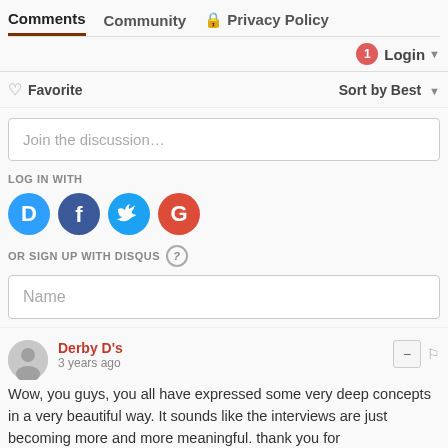Comments  Community  Privacy Policy
1  Login
♡ Favorite    Sort by Best
Join the discussion…
LOG IN WITH
[Figure (logo): Social login icons: Disqus (D), Facebook (f), Twitter (bird), Google (G)]
OR SIGN UP WITH DISQUS ?
Name
Derby D's
3 years ago
Wow, you guys, you all have expressed some very deep concepts in a very beautiful way. It sounds like the interviews are just becoming more and more meaningful. thank you for